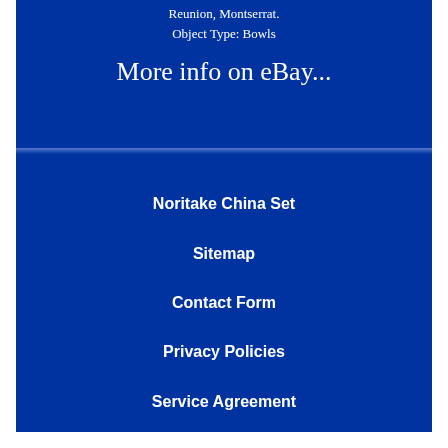Reunion, Montserrat.
Object Type: Bowls
More info on eBay...
Noritake China Set
Sitemap
Contact Form
Privacy Policies
Service Agreement